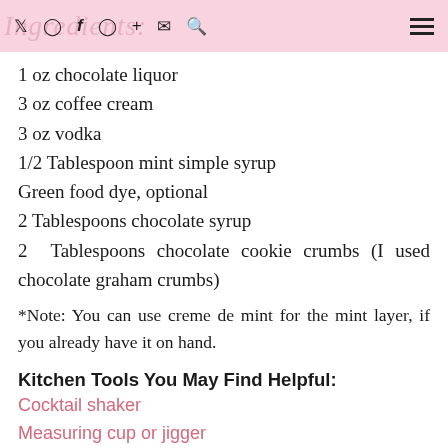Ingredients: [social icons]
1 oz chocolate liquor
3 oz coffee cream
3 oz vodka
1/2 Tablespoon mint simple syrup
Green food dye, optional
2 Tablespoons chocolate syrup
2 Tablespoons chocolate cookie crumbs (I used chocolate graham crumbs)
*Note: You can use creme de mint for the mint layer, if you already have it on hand.
Kitchen Tools You May Find Helpful:
Cocktail shaker
Measuring cup or jigger
Spoon
Champagne cocktail glasses